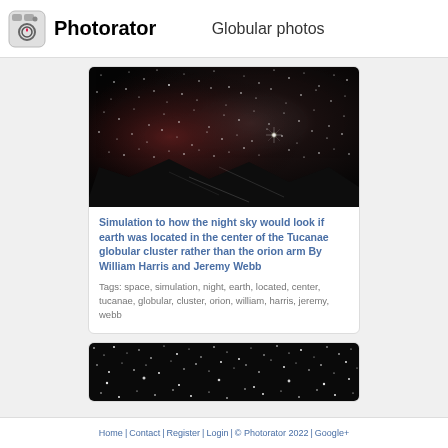Photorator — Globular photos
[Figure (photo): Simulation of night sky from center of Tucanae globular cluster — dense star field with reddish nebula and mountain silhouette]
Simulation to how the night sky would look if earth was located in the center of the Tucanae globular cluster rather than the orion arm By William Harris and Jeremy Webb
Tags: space, simulation, night, earth, located, center, tucanae, globular, cluster, orion, william, harris, jeremy, webb
[Figure (photo): Dense star field showing globular cluster — dark background with many white and slightly colored stars]
Home | Contact | Register | Login | © Photorator 2022 | Google+